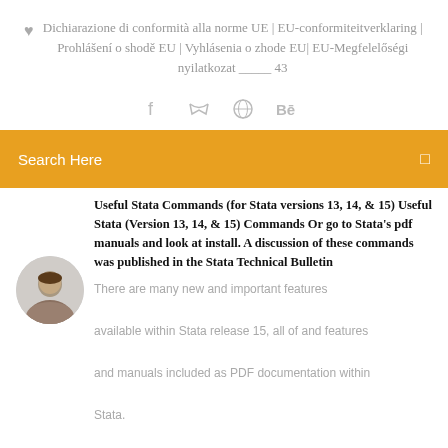Dichiarazione di conformità alla norme UE | EU-conformiteitverklaring | Prohlášení o shodě EU | Vyhlásenia o zhode EU| EU-Megfelelőségi nyilatkozat _____ 43
[Figure (illustration): Social media icons: Facebook, Twitter, a globe/compass icon, and Behance]
[Figure (screenshot): Orange search bar with text 'Search Here' and a small square icon on the right]
Useful Stata Commands (for Stata versions 13, 14, & 15) Useful Stata (Version 13, 14, & 15) Commands Or go to Stata's pdf manuals and look at install. A discussion of these commands was published in the Stata Technical Bulletin
[Figure (photo): Circular avatar photo of a man]
There are many new and important features available within Stata release 15, all of and features and manuals included as PDF documentation within Stata.